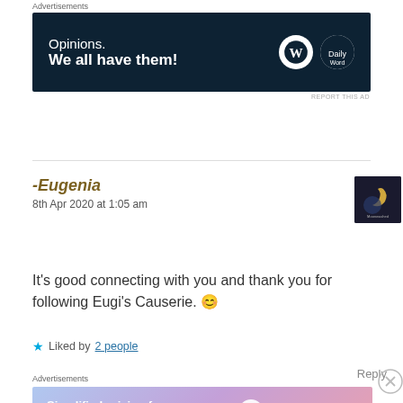Advertisements
[Figure (other): Advertisement banner: dark navy background with text 'Opinions. We all have them!' and WordPress logos]
REPORT THIS AD
-Eugenia
8th Apr 2020 at 1:05 am
[Figure (photo): User avatar thumbnail showing a dark image with crescent moon and text 'Moonwashed Musings']
It's good connecting with you and thank you for following Eugi's Causerie. 😊
★ Liked by 2 people
Reply
Advertisements
[Figure (other): Advertisement banner with colorful gradient background: 'Simplified pricing for everything you need.' WordPress.com logo]